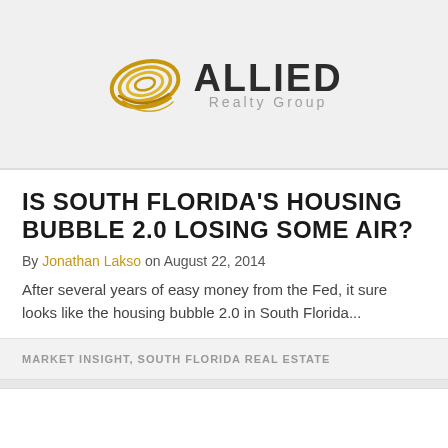[Figure (logo): Allied Realty Group logo with golden circular icon and bold ALLIED text with Realty Group subtitle]
IS SOUTH FLORIDA'S HOUSING BUBBLE 2.0 LOSING SOME AIR?
By Jonathan Lakso on August 22, 2014
After several years of easy money from the Fed, it sure looks like the housing bubble 2.0 in South Florida...
MARKET INSIGHT, SOUTH FLORIDA REAL ESTATE